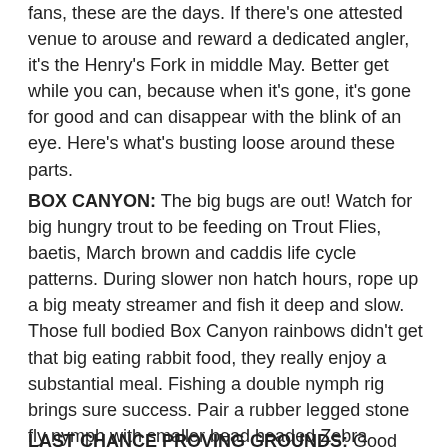fans, these are the days. If there's one attested venue to arouse and reward a dedicated angler, it's the Henry's Fork in middle May. Better get while you can, because when it's gone, it's gone for good and can disappear with the blink of an eye. Here's what's busting loose around these parts.
BOX CANYON: The big bugs are out! Watch for big hungry trout to be feeding on Trout Flies, baetis, March brown and caddis life cycle patterns. During slower non hatch hours, rope up a big meaty streamer and fish it deep and slow. Those full bodied Box Canyon rainbows didn't get that big eating rabbit food, they really enjoy a substantial meal. Fishing a double nymph rig brings sure success. Pair a rubber legged stone fly nymph with smaller bead headed Zebra midges, PT's and caddis pupa imitations. Dry dropper is a fine choice.
LAST CHANCE PROVING GROUNDS: Good